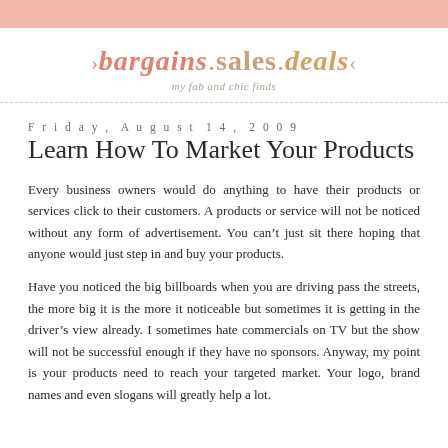bargains.sales.deals — my fab and chic finds
Friday, August 14, 2009
Learn How To Market Your Products
Every business owners would do anything to have their products or services click to their customers. A products or service will not be noticed without any form of advertisement. You can't just sit there hoping that anyone would just step in and buy your products.
Have you noticed the big billboards when you are driving pass the streets, the more big it is the more it noticeable but sometimes it is getting in the driver's view already. I sometimes hate commercials on TV but the show will not be successful enough if they have no sponsors. Anyway, my point is your products need to reach your targeted market. Your logo, brand names and even slogans will greatly help a lot.